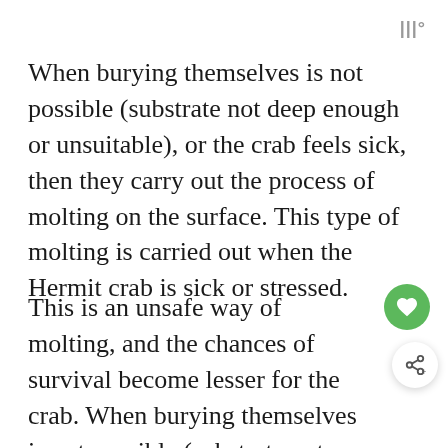|||°
When burying themselves is not possible (substrate not deep enough or unsuitable), or the crab feels sick, then they carry out the process of molting on the surface. This type of molting is carried out when the Hermit crab is sick or stressed.
This is an unsafe way of molting, and the chances of survival become lesser for the crab. When burying themselves is not possible (substrate not deep enough or unsuitable), or the crab feels sick, then